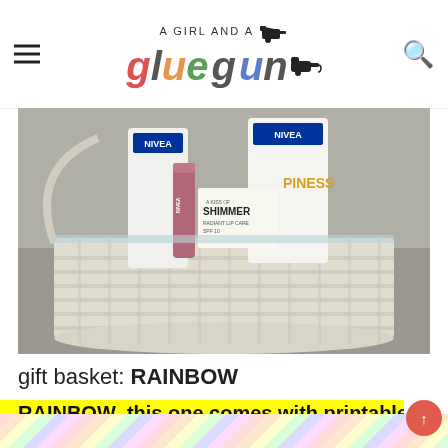A Girl and a Glue Gun
[Figure (photo): A wicker basket containing NIVEA lip balm (A Kiss of Shimmer, Radiant Lip Care) and NIVEA body lotion products, photographed against a grey background.]
gift basket: RAINBOW
RAINBOW–this one comes with printable